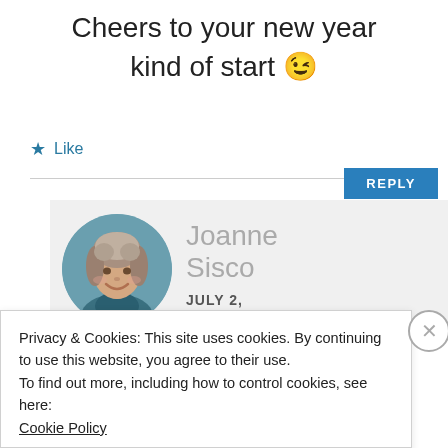Cheers to your new year kind of start 😉
★ Like
REPLY
Joanne Sisco
JULY 2, 2021 AT 8:35 PM
[Figure (photo): Circular profile photo of Joanne Sisco, a woman with curly gray hair, smiling]
Privacy & Cookies: This site uses cookies. By continuing to use this website, you agree to their use.
To find out more, including how to control cookies, see here:
Cookie Policy
Close and accept